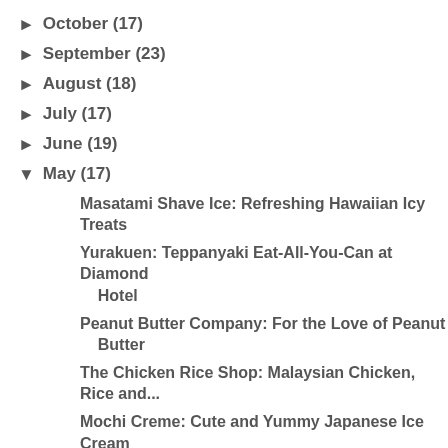► October (17)
► September (23)
► August (18)
► July (17)
► June (19)
▼ May (17)
Masatami Shave Ice: Refreshing Hawaiian Icy Treats
Yurakuen: Teppanyaki Eat-All-You-Can at Diamond Hotel
Peanut Butter Company: For the Love of Peanut Butter
The Chicken Rice Shop: Malaysian Chicken, Rice and...
Mochi Creme: Cute and Yummy Japanese Ice Cream
Li Li Chinese Restaurant: Dimsum Fest at Hyatt Hotel
Sweet Bella Café: Cakes, Pastries and More
413th Foundation Day & Malabon Kulinarya Festival ...
Phat Wong Asian Cafe: Modern Oriental Sharing Menu
Corniche: Culinaria Capampangan at Diamond Hotel
Pipino Vegetarian Food by Pino: Healthy and Delicious
Circles Event Café: Persian Delights at Makati Sha